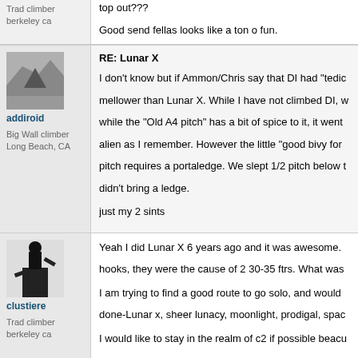Trad climber
berkeley ca
top out???
Good send fellas looks like a ton o fun.
[Figure (photo): Avatar image of addiroid showing a mountain face (Half Dome-like)]
addiroid
Big Wall climber
Long Beach, CA
RE: Lunar X
I don't know but if Ammon/Chris say that DI had "tedic mellower than Lunar X. While I have not climbed DI, w while the "Old A4 pitch" has a bit of spice to it, it went alien as I remember. However the little "good bivy for pitch requires a portaledge. We slept 1/2 pitch below t didn't bring a ledge.
just my 2 sints
[Figure (photo): Avatar image of clustiere showing a dark figure climbing]
clustiere
Trad climber
berkeley ca
Yeah I did Lunar X 6 years ago and it was awesome. hooks, they were the cause of 2 30-35 ftrs. What was
I am trying to find a good route to go solo, and would done-Lunar x, sheer lunacy, moonlight, prodigal, spac
I would like to stay in the realm of c2 if possible beacu
That said moonlight in a day could be great fun.